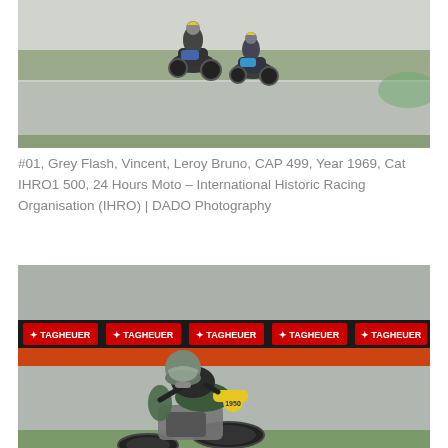[Figure (photo): Two vintage motorcycles racing on a track, viewed from a distance, overcast sky, asphalt and grass visible.]
#01, Grey Flash, Vincent, Leroy Bruno, CAP 499, Year 1969, Cat IHRO1 500, 24 Hours Moto – International Historic Racing Organisation (IHRO) | DADO Photography
[Figure (photo): A vintage motorcycle racer leaning into a corner on a racing circuit, TAG Heuer advertising boards in the background, spectators visible.]